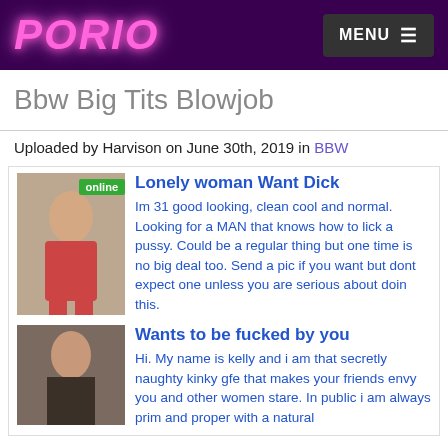PORIO | MENU
Bbw Big Tits Blowjob
Uploaded by Harvison on June 30th, 2019 in BBW
[Figure (photo): Ad block with two listings: first shows a woman with 'online' badge, second shows a woman. Each has a headline and description text.]
Lonely woman Want Dick
Im 31 good looking, clean cool and normal. Looking for a MAN that knows how to lick a pussy. Could be a regular thing but one time is no big deal too. Send a pic if you want but dont expect one unless you are serious about doin this.
Wants to be fucked by you
Hi. My name is kelly and i am that secretly naughty kinky gfe that makes your friends envy you and other women stare. In public i am always prim and proper with a natural